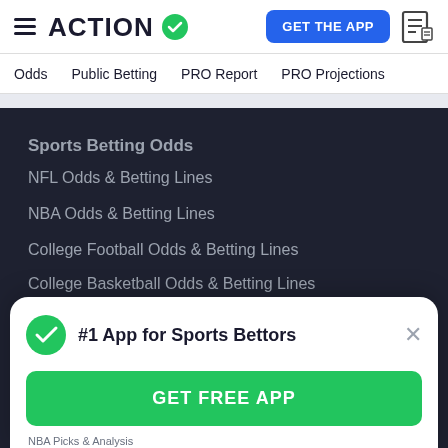ACTION — GET THE APP
Odds   Public Betting   PRO Report   PRO Projections
Sports Betting Odds
NFL Odds & Betting Lines
NBA Odds & Betting Lines
College Football Odds & Betting Lines
College Basketball Odds & Betting Lines
MLB Odds & Betting Lines
#1 App for Sports Bettors
GET FREE APP